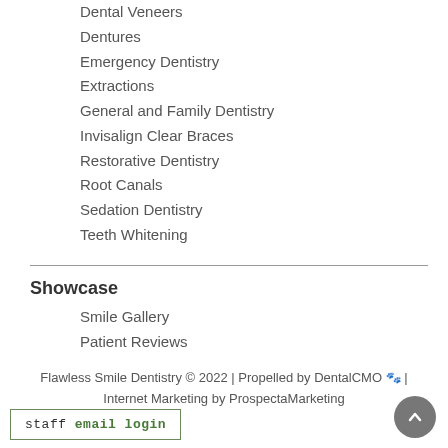Dental Veneers
Dentures
Emergency Dentistry
Extractions
General and Family Dentistry
Invisalign Clear Braces
Restorative Dentistry
Root Canals
Sedation Dentistry
Teeth Whitening
Showcase
Smile Gallery
Patient Reviews
Flawless Smile Dentistry © 2022 | Propelled by DentalCMO 🐾 | Internet Marketing by ProspectaMarketing
staff email login